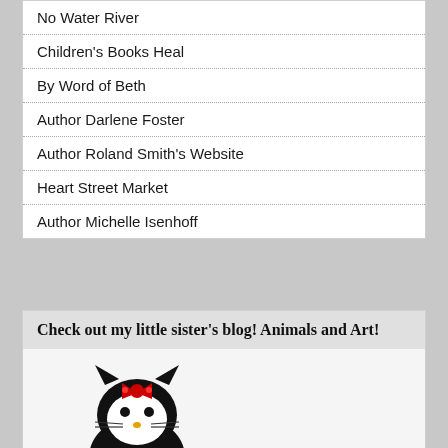No Water River
Children's Books Heal
By Word of Beth
Author Darlene Foster
Author Roland Smith's Website
Heart Street Market
Author Michelle Isenhoff
Check out my little sister's blog! Animals and Art!
[Figure (illustration): Black Hello Kitty character wearing a red bow, styled in black with white face details and a small yellow nose, in ninja/gothic style]